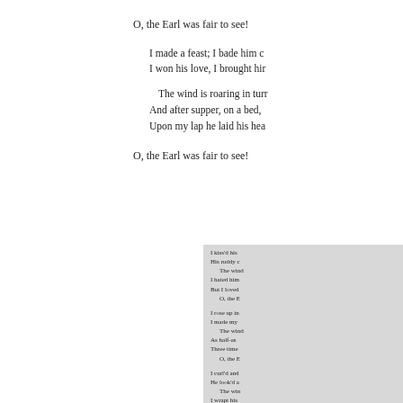,
O, the Earl was fair to see!

I made a feast; I bade him come;
I won his love, I brought him home;

The wind is roaring in turret and tree!
And after supper, on a bed,
Upon my lap he laid his head;

O, the Earl was fair to see!

I kiss'd his eyelids into rest:
His ruddy cheeks
The wind...
I hated him...
But I loved...
O, the E...

I rose up in the silent night:
I made my dagger sharp and bright;
The wind...
As half-asleep...
Three times...
O, the E...

I curl'd and comb'd his comely head,
He look'd so grand when he was dead;
The wind...
I wrapt his body in the sheet;
And laid him...
O, the E...

Sunset and evening star,
And one clear...
And may ther...
When I pu...

But such a tide...
Too full for...
When that w...